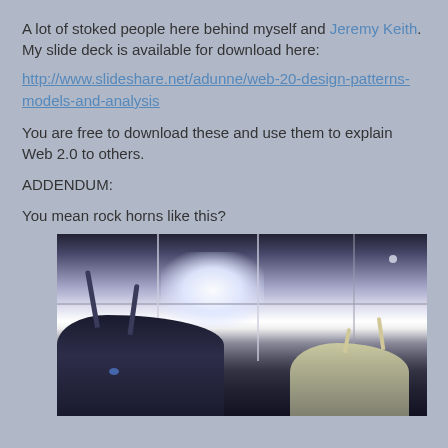A lot of stoked people here behind myself and Jeremy Keith. My slide deck is available for download here:
http://www.slideshare.net/adunne/web-20-design-patterns-models-and-analysis
You are free to download these and use them to explain Web 2.0 to others.
ADDENDUM:
You mean rock horns like this?
[Figure (photo): Photo of people making rock horns gesture with their fingers, taken from below against a ceiling with windows/skylights creating a grid pattern and bright light glare.]